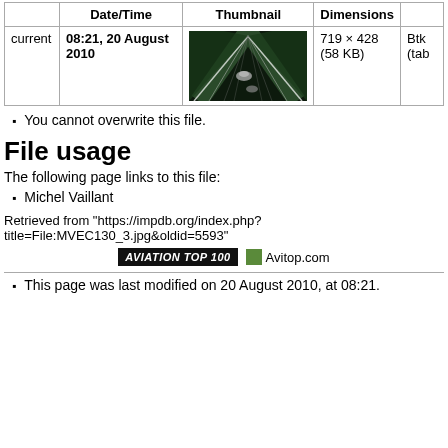|  | Date/Time | Thumbnail | Dimensions |  |
| --- | --- | --- | --- | --- |
| current | 08:21, 20 August 2010 | [thumbnail image] | 719 × 428
(58 KB) | Btk...
(tab... |
You cannot overwrite this file.
File usage
The following page links to this file:
Michel Vaillant
Retrieved from "https://impdb.org/index.php?title=File:MVEC130_3.jpg&oldid=5593"
[Figure (logo): AVIATION TOP 100 badge and Avitop.com link]
This page was last modified on 20 August 2010, at 08:21.